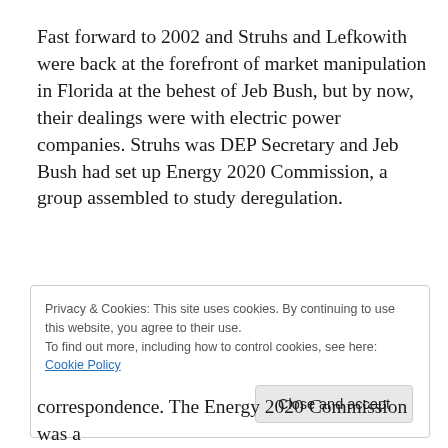Fast forward to 2002 and Struhs and Lefkowith were back at the forefront of market manipulation in Florida at the behest of Jeb Bush, but by now, their dealings were with electric power companies. Struhs was DEP Secretary and Jeb Bush had set up Energy 2020 Commission, a group assembled to study deregulation.
Privacy & Cookies: This site uses cookies. By continuing to use this website, you agree to their use. To find out more, including how to control cookies, see here: Cookie Policy
Close and accept
correspondence. The Energy 2020 Commission was a